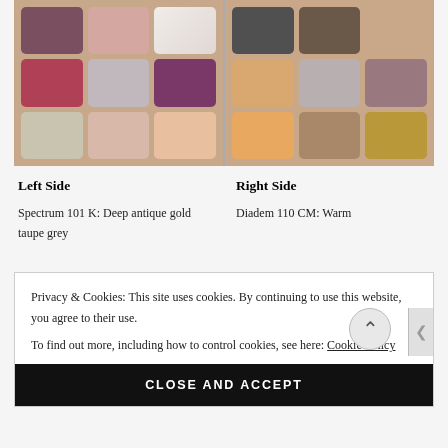[Figure (photo): Two side-by-side makeup eyeshadow palette swatches on skin. Left side shows 9 swatches in mauve, pink, silver, purple, shimmer, and peach tones. Right side shows 9 swatches in brown, taupe, gold, orange, silver, and mauve tones.]
Left Side
Right Side
Spectrum 101 K: Deep antique gold taupe grey
Diadem 110 CM: Warm
Privacy & Cookies: This site uses cookies. By continuing to use this website, you agree to their use.
To find out more, including how to control cookies, see here: Cookie Policy
CLOSE AND ACCEPT